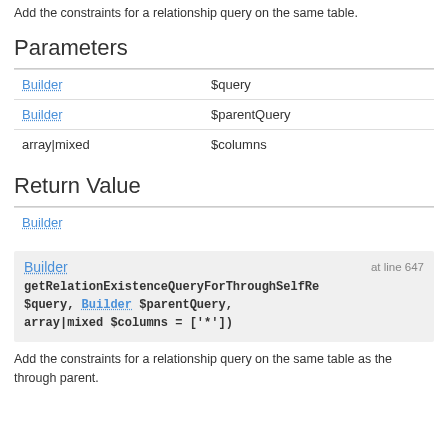Add the constraints for a relationship query on the same table.
Parameters
| Type | Parameter |
| --- | --- |
| Builder | $query |
| Builder | $parentQuery |
| array|mixed | $columns |
Return Value
| Type |
| --- |
| Builder |
[Figure (other): Code block showing method signature: Builder at line 647, getRelationExistenceQueryForThroughSelfRe... $query, Builder $parentQuery, array|mixed $columns = ['*'])]
Add the constraints for a relationship query on the same table as the through parent.